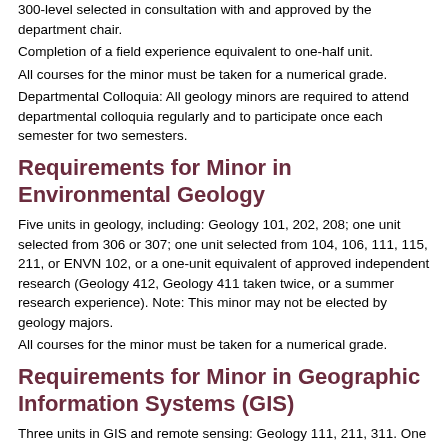300-level selected in consultation with and approved by the department chair.
Completion of a field experience equivalent to one-half unit.
All courses for the minor must be taken for a numerical grade.
Departmental Colloquia: All geology minors are required to attend departmental colloquia regularly and to participate once each semester for two semesters.
Requirements for Minor in Environmental Geology
Five units in geology, including: Geology 101, 202, 208; one unit selected from 306 or 307; one unit selected from 104, 106, 111, 115, 211, or ENVN 102, or a one-unit equivalent of approved independent research (Geology 412, Geology 411 taken twice, or a summer research experience). Note: This minor may not be elected by geology majors.
All courses for the minor must be taken for a numerical grade.
Requirements for Minor in Geographic Information Systems (GIS)
Three units in GIS and remote sensing: Geology 111, 211, 311. One unit in statistics, mathematics or computer science, selected